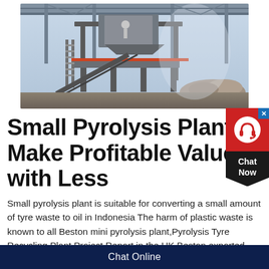[Figure (photo): Industrial pyrolysis or recycling machinery inside a large warehouse or factory building. Metal conveyor structure, hoppers, and mechanical equipment visible with light entering from the background.]
Small Pyrolysis Plant | Make Profitable Value with Less
Small pyrolysis plant is suitable for converting a small amount of tyre waste to oil in Indonesia The harm of plastic waste is known to all Beston mini pyrolysis plant,Pyrolysis Tyre Recycling Plant Project Report in the UK Beston exported and installed a tyre pyrolysis plant in the UK in 2018
Chat Online